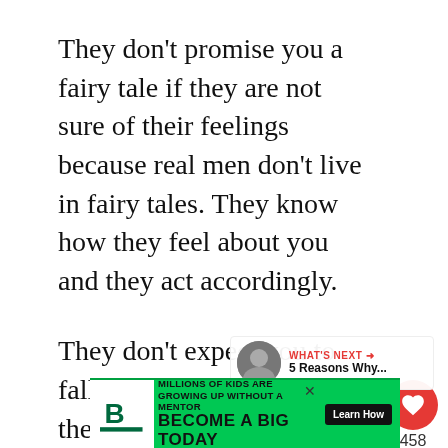They don't promise you a fairy tale if they are not sure of their feelings because real men don't live in fairy tales. They know how they feel about you and they act accordingly.
They don't expect you to fall head over heels for them after one date.
They don't expect you to believe anything they say if they don't prove it to you...
[Figure (other): Red circular like/heart button with count 458 and share button overlay on right side]
[Figure (other): What's Next overlay panel with avatar photo and text '5 Reasons Why...']
[Figure (other): Big Brothers Big Sisters advertisement banner: 'MILLIONS OF KIDS ARE GROWING UP WITHOUT A MENTOR. BECOME A BIG TODAY' with Learn How button]